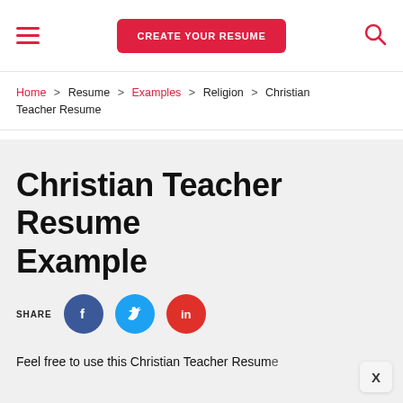CREATE YOUR RESUME
Home > Resume > Examples > Religion > Christian Teacher Resume
Christian Teacher Resume Example
SHARE
Feel free to use this Christian Teacher Resume